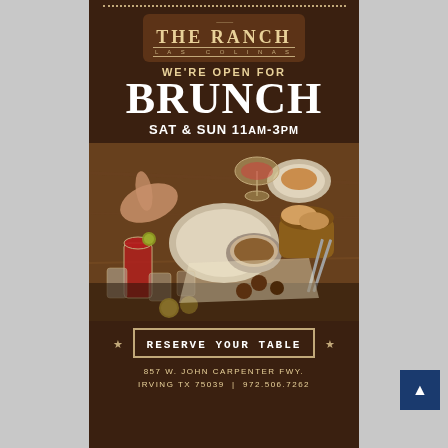[Figure (logo): The Ranch Las Colinas restaurant logo — badge shape with fork icon, serif lettering on dark brown background]
WE'RE OPEN FOR BRUNCH SAT & SUN 11AM-3PM
[Figure (photo): Overhead photo of brunch table spread — plates, cocktails, bread basket, glasses on wooden table with diners' hands reaching]
★ RESERVE YOUR TABLE ★
857 W. JOHN CARPENTER FWY. IRVING TX 75039 | 972.506.7262